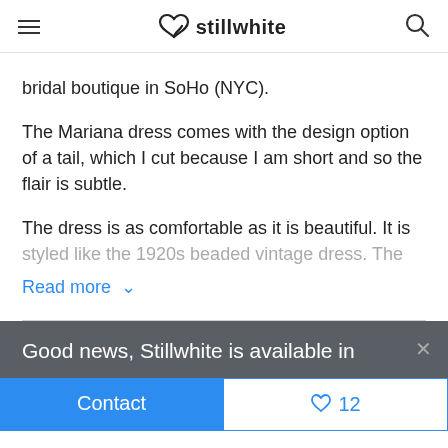stillwhite
bridal boutique in SoHo (NYC).
The Mariana dress comes with the design option of a tail, which I cut because I am short and so the flair is subtle.
The dress is as comfortable as it is beautiful. It is styled like the 1920s beaded vintage dress. The
Read more ∨
Good news, Stillwhite is available in
Contact
♡12